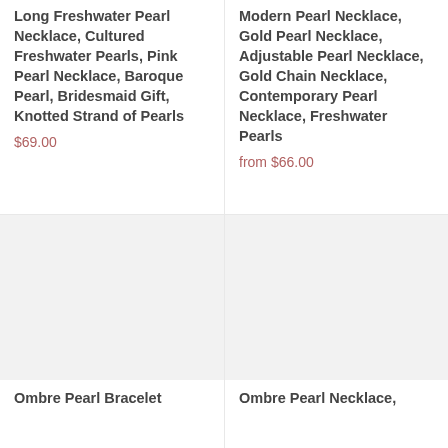Long Freshwater Pearl Necklace, Cultured Freshwater Pearls, Pink Pearl Necklace, Baroque Pearl, Bridesmaid Gift, Knotted Strand of Pearls
$69.00
Modern Pearl Necklace, Gold Pearl Necklace, Adjustable Pearl Necklace, Gold Chain Necklace, Contemporary Pearl Necklace, Freshwater Pearls
from $66.00
[Figure (photo): Product image placeholder for Ombre Pearl Bracelet]
Ombre Pearl Bracelet
[Figure (photo): Product image placeholder for Ombre Pearl Necklace]
Ombre Pearl Necklace,